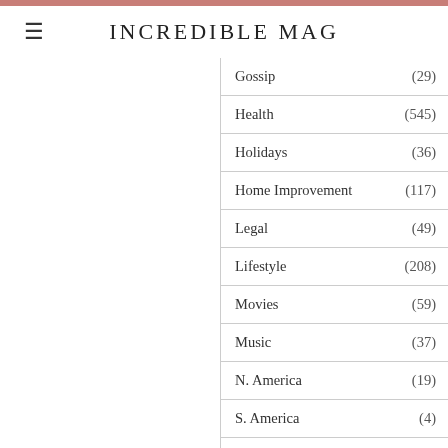INCREDIBLE MAG
Gossip (29)
Health (545)
Holidays (36)
Home Improvement (117)
Legal (49)
Lifestyle (208)
Movies (59)
Music (37)
N. America (19)
S. America (4)
Self Improvement (44)
Sports (230)